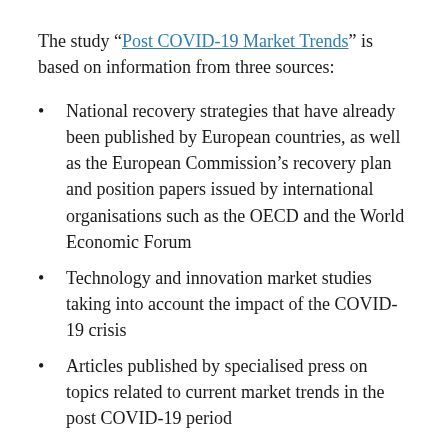The study “Post COVID-19 Market Trends” is based on information from three sources:
National recovery strategies that have already been published by European countries, as well as the European Commission’s recovery plan and position papers issued by international organisations such as the OECD and the World Economic Forum
Technology and innovation market studies taking into account the impact of the COVID-19 crisis
Articles published by specialised press on topics related to current market trends in the post COVID-19 period